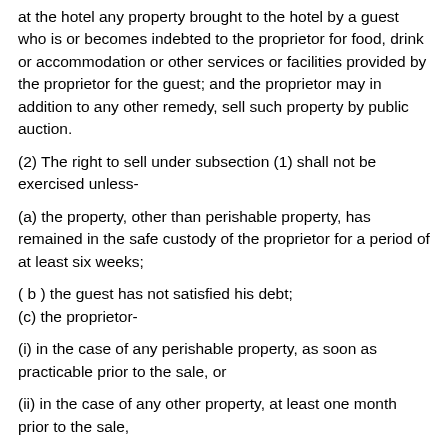at the hotel any property brought to the hotel by a guest who is or becomes indebted to the proprietor for food, drink or accommodation or other services or facilities provided by the proprietor for the guest; and the proprietor may in addition to any other remedy, sell such property by public auction.
(2) The right to sell under subsection (1) shall not be exercised unless-
(a) the property, other than perishable property, has remained in the safe custody of the proprietor for a period of at least six weeks;
( b ) the guest has not satisfied his debt;
(c) the proprietor-
(i) in the case of any perishable property, as soon as practicable prior to the sale, or
(ii) in the case of any other property, at least one month prior to the sale,
causes to be published in a newspaper circulating in Antigua and Barbuda notice of the intended sale containing a brief